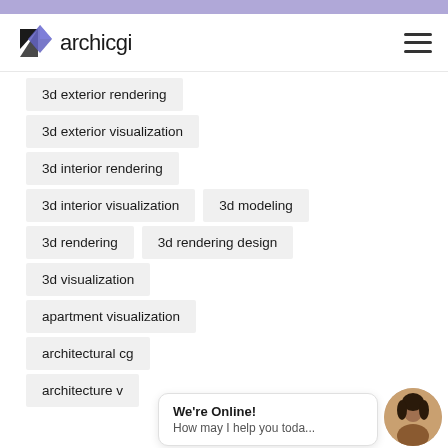archicgi
3d exterior rendering
3d exterior visualization
3d interior rendering
3d interior visualization
3d modeling
3d rendering
3d rendering design
3d visualization
apartment visualization
architectural cg
architecture v
We're Online! How may I help you toda...